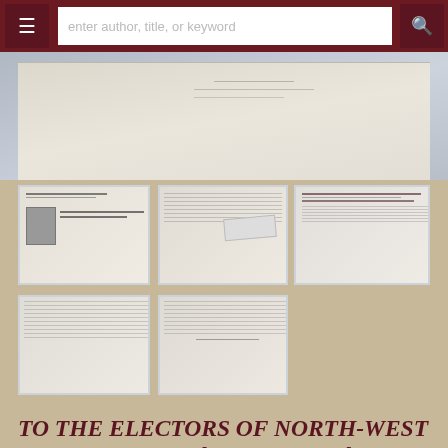enter author, title, or keyword
[Figure (photo): Main large photograph showing open historical documents/pamphlets on a blue-gray background]
[Figure (photo): Thumbnail 1: Open pamphlet with portrait photo, text reading TO THE ELECTORS OF NORTH-WEST MANCHESTER]
[Figure (photo): Thumbnail 2: Open pages of document with insert card]
[Figure (photo): Thumbnail 3: Document page with text Candidature of Mr. Winston S. Churchill]
[Figure (photo): Thumbnail 4: Open document pages with dense text]
[Figure (photo): Thumbnail 5: Open document pages with dense text and colophon]
TO THE ELECTORS OF NORTH-WEST MANCHESTER: the extravagantly rare publication of Winston S. Churchill's campaign address from the first election he contested as a Liberal, including the only copy known to us of